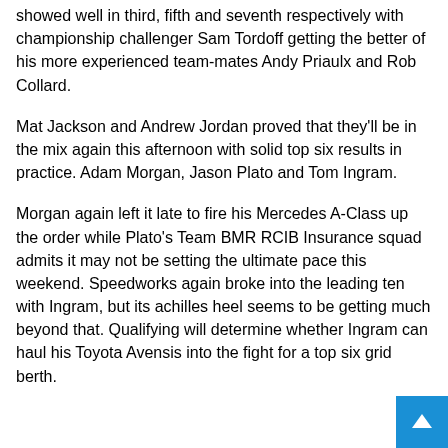showed well in third, fifth and seventh respectively with championship challenger Sam Tordoff getting the better of his more experienced team-mates Andy Priaulx and Rob Collard.
Mat Jackson and Andrew Jordan proved that they'll be in the mix again this afternoon with solid top six results in practice. Adam Morgan, Jason Plato and Tom Ingram.
Morgan again left it late to fire his Mercedes A-Class up the order while Plato's Team BMR RCIB Insurance squad admits it may not be setting the ultimate pace this weekend. Speedworks again broke into the leading ten with Ingram, but its achilles heel seems to be getting much beyond that. Qualifying will determine whether Ingram can haul his Toyota Avensis into the fight for a top six grid berth.